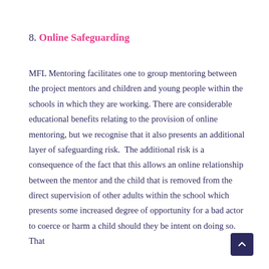8. Online Safeguarding
MFL Mentoring facilitates one to group mentoring between the project mentors and children and young people within the schools in which they are working. There are considerable educational benefits relating to the provision of online mentoring, but we recognise that it also presents an additional layer of safeguarding risk.  The additional risk is a consequence of the fact that this allows an online relationship between the mentor and the child that is removed from the direct supervision of other adults within the school which presents some increased degree of opportunity for a bad actor to coerce or harm a child should they be intent on doing so. That